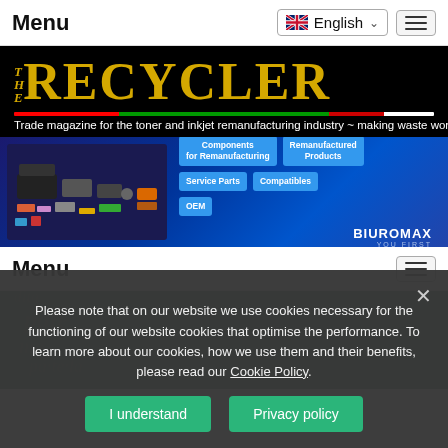Menu
[Figure (logo): THE RECYCLER logo — gold text on black background with colored stripe and tagline: Trade magazine for the toner and inkjet remanufacturing industry ~ making waste work]
[Figure (infographic): Biuromax advertisement banner showing printer products with category buttons: Components for Remanufacturing, Remanufactured Products, Service Parts, Compatibles, OEM]
Menu
Please note that on our website we use cookies necessary for the functioning of our website cookies that optimise the performance. To learn more about our cookies, how we use them and their benefits, please read our Cookie Policy.
I understand | Privacy policy